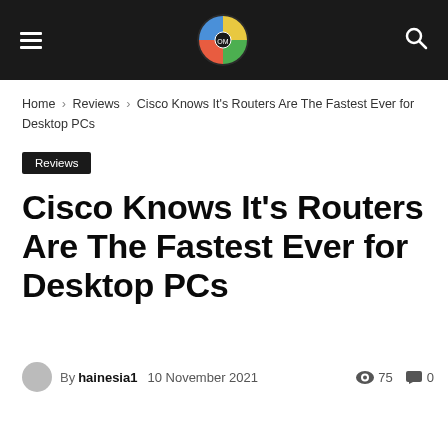Navigation bar with hamburger menu, site logo, and search icon
Home › Reviews › Cisco Knows It's Routers Are The Fastest Ever for Desktop PCs
Reviews
Cisco Knows It's Routers Are The Fastest Ever for Desktop PCs
By hainesia1  10 November 2021  75  0